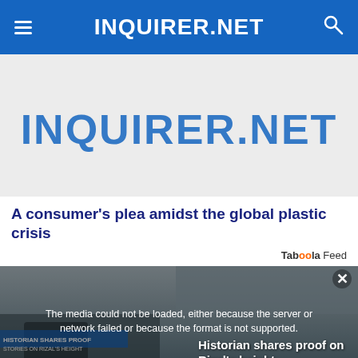INQUIRER.NET
[Figure (logo): INQUIRER.NET large logo on light grey background, partially cropped at top]
A consumer’s plea amidst the global plastic crisis
Taboola Feed
[Figure (photo): Photo of a person with a media error overlay reading 'The media could not be loaded, either because the server or network failed or because the format is not supported.' A video thumbnail shows text 'Historian shares proof on Rizal’s height']
X